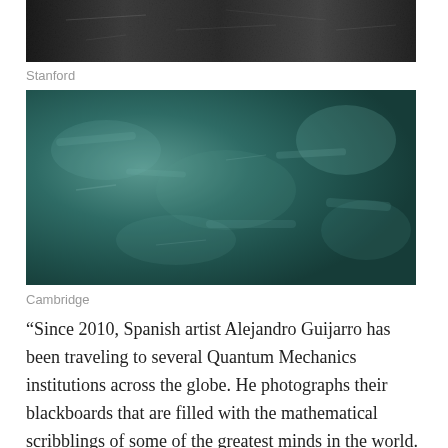[Figure (photo): Black and white photograph of a blackboard covered in mathematical scribblings — Stanford]
Stanford
[Figure (photo): Color photograph of a dark teal/green blackboard with erased chalk marks and mathematical scribblings — Cambridge]
Cambridge
“Since 2010, Spanish artist Alejandro Guijarro has been traveling to several Quantum Mechanics institutions across the globe. He photographs their blackboards that are filled with the mathematical scribblings of some of the greatest minds in the world. The photographer walks into